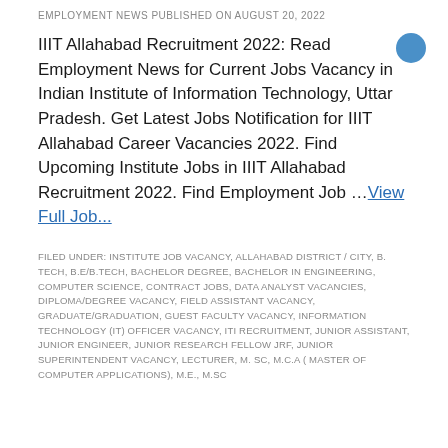EMPLOYMENT NEWS PUBLISHED ON AUGUST 20, 2022
IIIT Allahabad Recruitment 2022: Read Employment News for Current Jobs Vacancy in Indian Institute of Information Technology, Uttar Pradesh. Get Latest Jobs Notification for IIIT Allahabad Career Vacancies 2022. Find Upcoming Institute Jobs in IIIT Allahabad Recruitment 2022. Find Employment Job … View Full Job...
FILED UNDER: INSTITUTE JOB VACANCY, ALLAHABAD DISTRICT / CITY, B. TECH, B.E/B.TECH, BACHELOR DEGREE, BACHELOR IN ENGINEERING, COMPUTER SCIENCE, CONTRACT JOBS, DATA ANALYST VACANCIES, DIPLOMA/DEGREE VACANCY, FIELD ASSISTANT VACANCY, GRADUATE/GRADUATION, GUEST FACULTY VACANCY, INFORMATION TECHNOLOGY (IT) OFFICER VACANCY, ITI RECRUITMENT, JUNIOR ASSISTANT, JUNIOR ENGINEER, JUNIOR RESEARCH FELLOW JRF, JUNIOR SUPERINTENDENT VACANCY, LECTURER, M. SC, M.C.A ( MASTER OF COMPUTER APPLICATIONS), M.E., M.SC